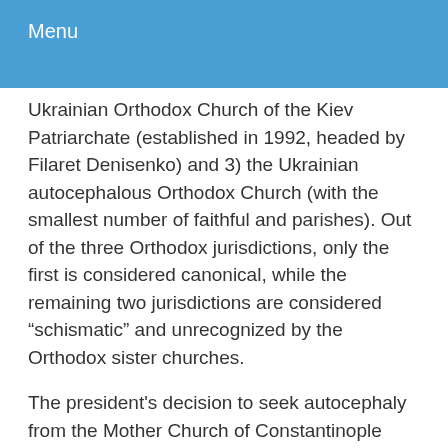Menu
Ukrainian Orthodox Church of the Kiev Patriarchate (established in 1992, headed by Filaret Denisenko) and 3) the Ukrainian autocephalous Orthodox Church (with the smallest number of faithful and parishes). Out of the three Orthodox jurisdictions, only the first is considered canonical, while the remaining two jurisdictions are considered “schismatic” and unrecognized by the Orthodox sister churches.
The president's decision to seek autocephaly from the Mother Church of Constantinople was supported by the majority of the Verkhovna Rada, the unicameral parliament of Ukraine. So, the request for autocephaly from Constantinople is not only a religious, ecclesiastical matter but a geopolitical urgency, which, if granted, will politically consolidate and unite Ukraine. The president's request for autocephaly found support from the Ecumenical Patriarch of